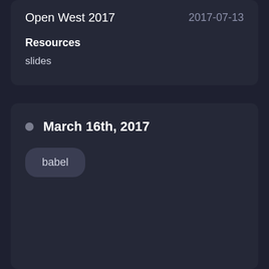Open West 2017
2017-07-13
Resources
slides
March 16th, 2017
babel